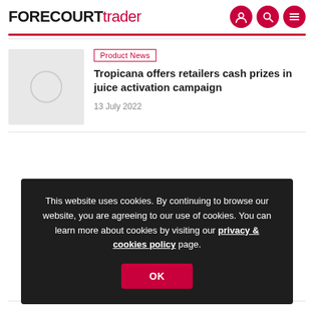FORECOURTtrader
Product News
Tropicana offers retailers cash prizes in juice activation campaign
13 July 2022
This website uses cookies. By continuing to browse our website, you are agreeing to our use of cookies. You can learn more about cookies by visiting our privacy & cookies policy page.